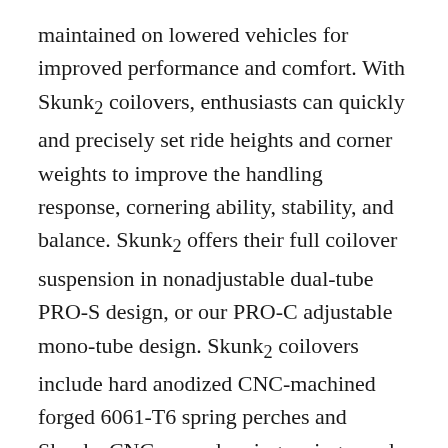maintained on lowered vehicles for improved performance and comfort. With Skunk2 coilovers, enthusiasts can quickly and precisely set ride heights and corner weights to improve the handling response, cornering ability, stability, and balance. Skunk2 offers their full coilover suspension in nonadjustable dual-tube PRO-S design, or our PRO-C adjustable mono-tube design. Skunk2 coilovers include hard anodized CNC-machined forged 6061-T6 spring perches and Skunk2 CNC-wound racing springs made from SAE9254V spring steel.
The Pro-Series line of products have always been known to set the benchmark for performance, and they are the product that hardcore enthusiast demand. The Pro-S Coilover will redefine suspension